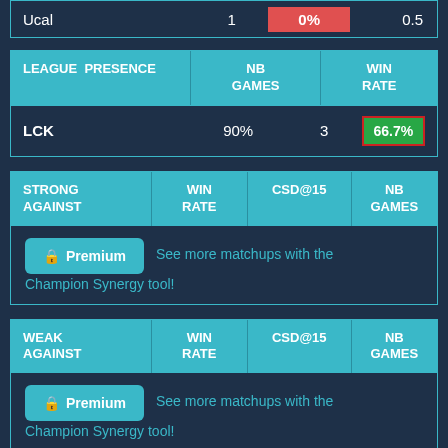|  |  |  |  |
| --- | --- | --- | --- |
| Ucal | 1 | 0% | 0.5 |
| LEAGUE PRESENCE | NB GAMES | WIN RATE |
| --- | --- | --- |
| LCK | 90% | 3 | 66.7% |
| STRONG AGAINST | WIN RATE | CSD@15 | NB GAMES |
| --- | --- | --- | --- |
| Premium | See more matchups with the Champion Synergy tool! |  |  |
| WEAK AGAINST | WIN RATE | CSD@15 | NB GAMES |
| --- | --- | --- | --- |
| Premium | See more matchups with the Champion Synergy tool! |  |  |